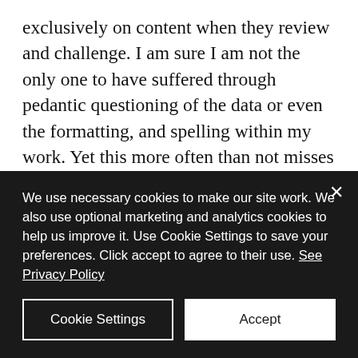exclusively on content when they review and challenge. I am sure I am not the only one to have suffered through pedantic questioning of the data or even the formatting, and spelling within my work. Yet this more often than not misses the more significant issues and hence why a systematic review of the decision-making process, one aimed at mitigating biases that may have influenced the recommendations and
We use necessary cookies to make our site work. We also use optional marketing and analytics cookies to help us improve it. Use Cookie Settings to save your preferences. Click accept to agree to their use. See Privacy Policy